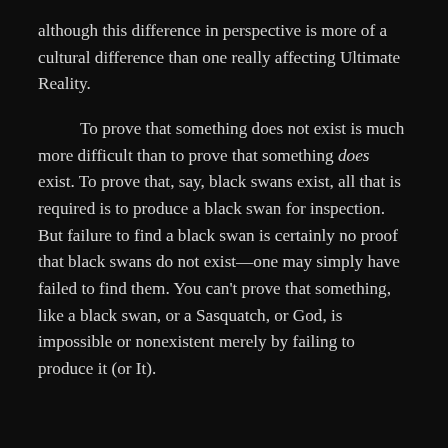although this difference in perspective is more of a cultural difference than one really affecting Ultimate Reality.
To prove that something does not exist is much more difficult than to prove that something does exist. To prove that, say, black swans exist, all that is required is to produce a black swan for inspection. But failure to find a black swan is certainly no proof that black swans do not exist—one may simply have failed to find them. You can't prove that something, like a black swan, or a Sasquatch, or God, is impossible or nonexistent merely by failing to produce it (or It).